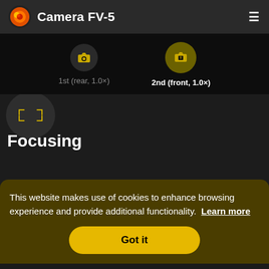Camera FV-5
1st (rear, 1.0×)
2nd (front, 1.0×)
Focusing
This website makes use of cookies to enhance browsing experience and provide additional functionality.  Learn more
Got it